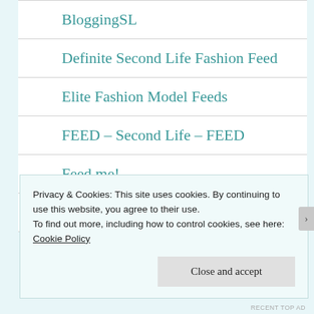BloggingSL
Definite Second Life Fashion Feed
Elite Fashion Model Feeds
FEED – Second Life – FEED
Feed.me!
Grid Syndicate
Privacy & Cookies: This site uses cookies. By continuing to use this website, you agree to their use.
To find out more, including how to control cookies, see here: Cookie Policy
Close and accept